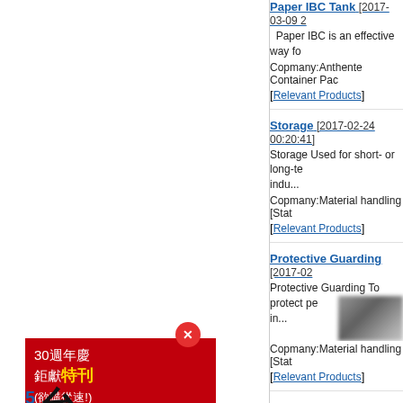[Figure (screenshot): Advertisement panel with red close button and red background box showing '30週年慶 鉅獻特刊 (欲購從速!)' text, and below a section with '50年來影' and '台灣' Chinese characters]
Paper IBC Tank [2017-03-09 2...] Paper IBC is an effective way fo... Copmany:Anthente Container Pac... [Relevant Products]
Storage [2017-02-24 00:20:41] Storage Used for short- or long-te... indu... Copmany:Material handling [State... [Relevant Products]
Protective Guarding [2017-02...] Protective Guarding To protect pe... in... Copmany:Material handling [State... [Relevant Products]
Casters and Wheels [2017-02...] Casters and Wheels When mounte... personnel or ma... Copmany:Material handling [State... [Relevant Products]
Lift Trucks [2017-02-24 00:08:...] Lift Trucks For independent move... lif...